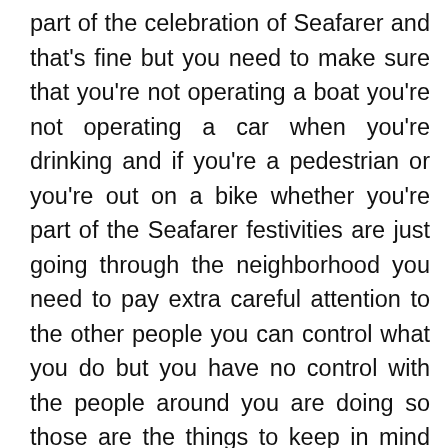part of the celebration of Seafarer and that's fine but you need to make sure that you're not operating a boat you're not operating a car when you're drinking and if you're a pedestrian or you're out on a bike whether you're part of the Seafarer festivities are just going through the neighborhood you need to pay extra careful attention to the other people you can control what you do but you have no control with the people around you are doing so those are the things to keep in mind certainly safety is a big a big item but in the broader sense this is a great celebration for the community you have to be proud to be part of this everyone in our office is so excited about being a part of sea fair it's a Seattle institution and it's an opportunity for everyone to get together as a community and